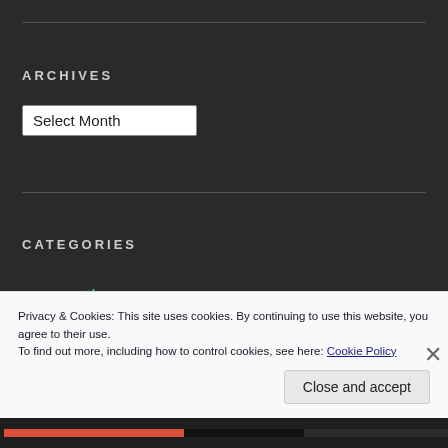ARCHIVES
Select Month
CATEGORIES
» creative
» infographic
» motivation
Privacy & Cookies: This site uses cookies. By continuing to use this website, you agree to their use.
To find out more, including how to control cookies, see here: Cookie Policy
Close and accept